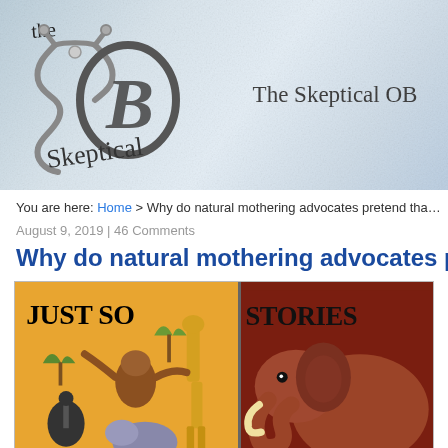[Figure (logo): The Skeptical OB website header banner with stylized SOB stethoscope logo on crumpled paper background and site title 'The Skeptical OB']
You are here: Home > Why do natural mothering advocates pretend tha…
August 9, 2019 | 46 Comments
Why do natural mothering advocates p…
[Figure (illustration): Cover of 'Just So Stories' book showing colorful illustrated animals including giraffe, monkey, ostrich, hippo on yellow/orange background (left panel) and elephant on dark red/brown background (right panel)]